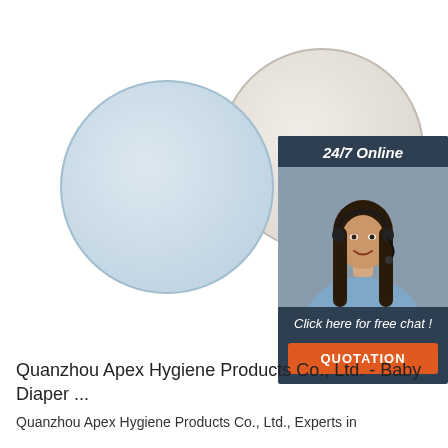[Figure (photo): Two circular fabric nursing/breast pads — a blue-gray textured pad in front and a beige/natural colored pad behind it, on a white background. A 24/7 online chat widget appears in the top right corner with a photo of a smiling woman with a headset, dark hair, blue shirt. Widget has dark navy background with italic text 'Click here for free chat!' and an orange 'QUOTATION' button.]
Quanzhou Apex Hygiene Products Co., Ltd. - Baby Diaper ...
Quanzhou Apex Hygiene Products Co., Ltd., Experts in